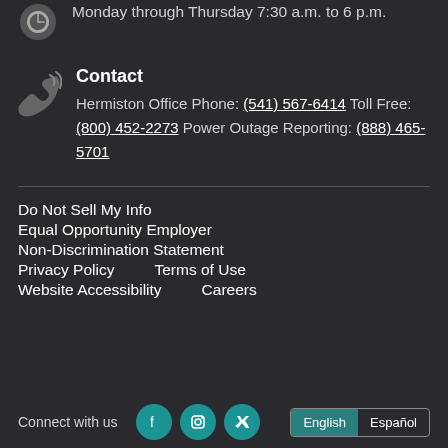Monday through Thursday 7:30 a.m. to 6 p.m.
Contact
Hermiston Office Phone: (541) 567-6414 Toll Free: (800) 452-2273 Power Outage Reporting: (888) 465-5701
Do Not Sell My Info
Equal Opportunity Employer
Non-Discrimination Statement
Privacy Policy
Terms of Use
Website Accessibility
Careers
Connect with us
English  Español